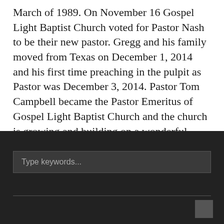March of 1989. On November 16 Gospel Light Baptist Church voted for Pastor Nash to be their new pastor. Gregg and his family moved from Texas on December 1, 2014 and his first time preaching in the pulpit as Pastor was December 3, 2014. Pastor Tom Campbell became the Pastor Emeritus of Gospel Light Baptist Church and the church is growing and building on a wonderful foundation.
Type keywords...